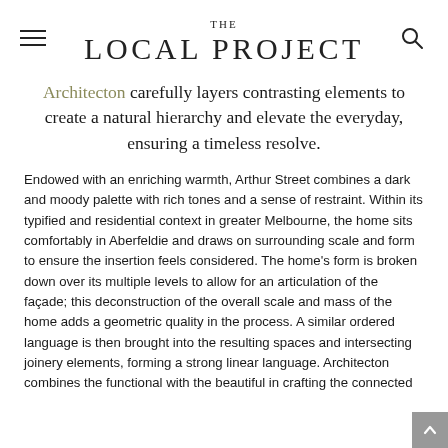THE LOCAL PROJECT
Architecton carefully layers contrasting elements to create a natural hierarchy and elevate the everyday, ensuring a timeless resolve.
Endowed with an enriching warmth, Arthur Street combines a dark and moody palette with rich tones and a sense of restraint. Within its typified and residential context in greater Melbourne, the home sits comfortably in Aberfeldie and draws on surrounding scale and form to ensure the insertion feels considered. The home's form is broken down over its multiple levels to allow for an articulation of the façade; this deconstruction of the overall scale and mass of the home adds a geometric quality in the process. A similar ordered language is then brought into the resulting spaces and intersecting joinery elements, forming a strong linear language. Architecton combines the functional with the beautiful in crafting the connected